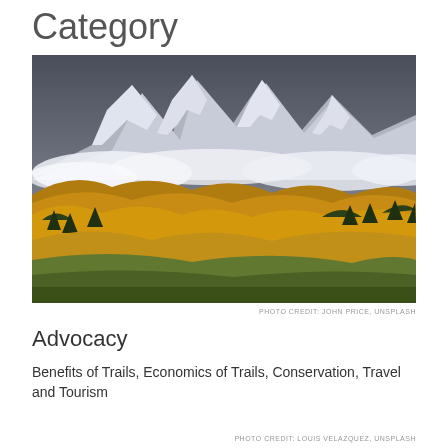Category
[Figure (photo): Mountain landscape with snow-capped peaks, low clouds, and golden autumn foliage on rolling hills below]
PHOTO CREDIT: JOHN PRICE, UNSPLASH
Advocacy
Benefits of Trails, Economics of Trails, Conservation, Travel and Tourism
PHOTO CREDIT: LOUIS VELAZQUEZ, UNSPLASH